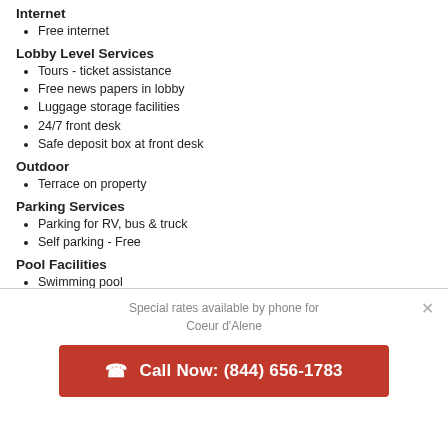Internet
Free internet
Lobby Level Services
Tours - ticket assistance
Free news papers in lobby
Luggage storage facilities
24/7 front desk
Safe deposit box at front desk
Outdoor
Terrace on property
Parking Services
Parking for RV, bus & truck
Self parking - Free
Pool Facilities
Swimming pool
Number of indoor pools -
Outdoor Swimming Pool
Special rates available by phone for Coeur d'Alene
Call Now: (844) 656-1783